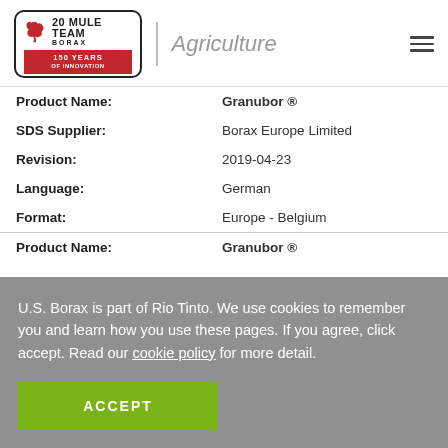20 MULE TEAM BORAX | Agriculture
| Field | Value |
| --- | --- |
| Product Name: | Granubor ® |
| SDS Supplier: | Borax Europe Limited |
| Revision: | 2019-04-23 |
| Language: | German |
| Format: | Europe - Belgium |
| Product Name: | Granubor ® |
U.S. Borax is part of Rio Tinto. We use cookies to remember you and learn how you use these pages. If you agree, click accept. Read our cookie policy for more detail.
ACCEPT